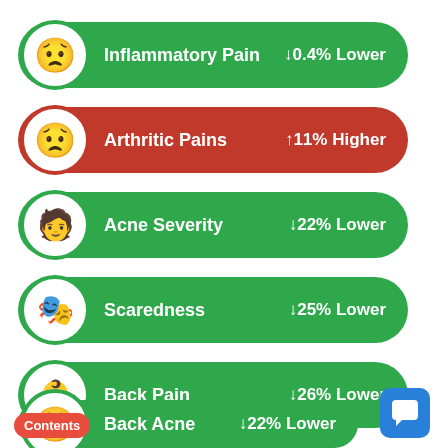Inflammatory Pain ↓0.4% Lower
Arthritic Pains ↑11% Higher
Acne Severity ↓22% Lower
Scaredness ↓25% Lower
Back Pain ↓26% Lower
Back Acne ↓22% Lower